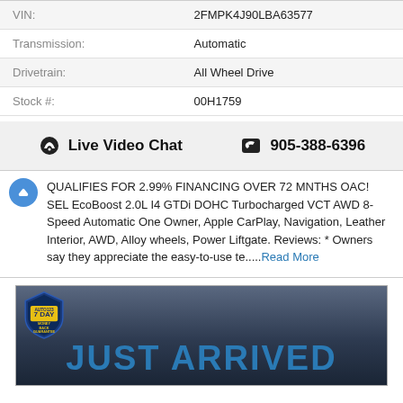| VIN: | 2FMPK4J90LBA63577 |
| Transmission: | Automatic |
| Drivetrain: | All Wheel Drive |
| Stock #: | 00H1759 |
💬 Live Video Chat   📞 905-388-6396
QUALIFIES FOR 2.99% FINANCING OVER 72 MNTHS OAC! SEL EcoBoost 2.0L I4 GTDi DOHC Turbocharged VCT AWD 8-Speed Automatic One Owner, Apple CarPlay, Navigation, Leather Interior, AWD, Alloy wheels, Power Liftgate. Reviews: * Owners say they appreciate the easy-to-use te.....Read More
[Figure (photo): Dark background promotional image with '7 DAY MONEY BACK GUARANTEE' shield badge on the left and 'JUST ARRIVED' text in large blue bold letters]